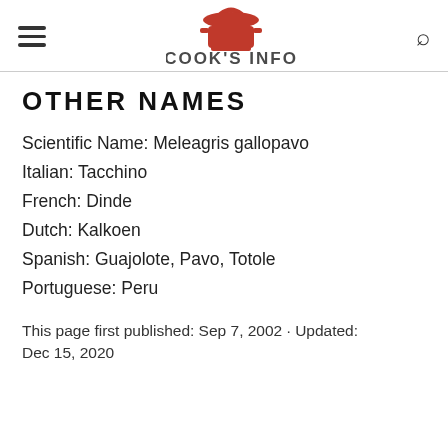COOK'S INFO
OTHER NAMES
Scientific Name: Meleagris gallopavo
Italian: Tacchino
French: Dinde
Dutch: Kalkoen
Spanish: Guajolote, Pavo, Totole
Portuguese: Peru
This page first published: Sep 7, 2002 · Updated: Dec 15, 2020